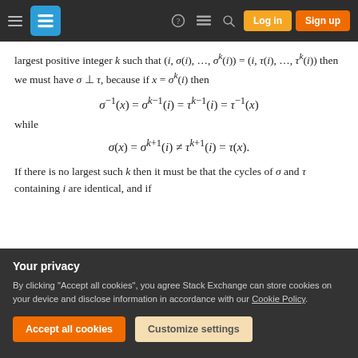Stack Exchange navigation bar with hamburger menu, logo, help, chat, search, Log in, Sign up buttons
largest positive integer k such that (i, σ(i), …, σ^k(i)) = (i, τ(i), …, τ^k(i)) then we must have σ ⊥ τ, because if x = σ^k(i) then
while
If there is no largest such k then it must be that the cycles of σ and τ containing i are identical, and if
Your privacy
By clicking "Accept all cookies", you agree Stack Exchange can store cookies on your device and disclose information in accordance with our Cookie Policy.
Accept all cookies | Customize settings